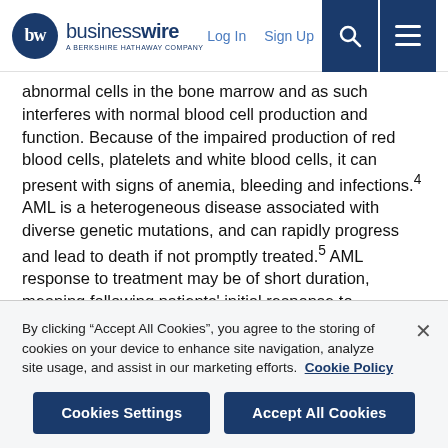businesswire - A Berkshire Hathaway Company | Log In | Sign Up
abnormal cells in the bone marrow and as such interferes with normal blood cell production and function. Because of the impaired production of red blood cells, platelets and white blood cells, it can present with signs of anemia, bleeding and infections.4 AML is a heterogeneous disease associated with diverse genetic mutations, and can rapidly progress and lead to death if not promptly treated.5 AML response to treatment may be of short duration, meaning following patients' initial response to chemotherapy, there is still a very high risk of relapse, thus representing a significant unmet need for continued therapy options that prolong overall survival.6
By clicking "Accept All Cookies", you agree to the storing of cookies on your device to enhance site navigation, analyze site usage, and assist in our marketing efforts. Cookie Policy